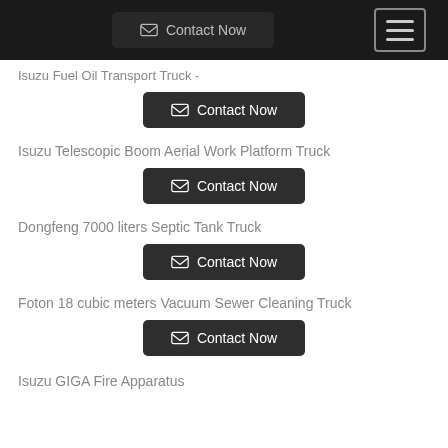Contact Now (menu button)
Isuzu Fuel Oil Transport Truck -
Contact Now
Isuzu Telescopic Boom Aerial Work Platform Truck
Contact Now
Dongfeng 7000 liters Septic Tank Truck
Contact Now
Foton 18 cubic meters Vacuum Sewer Cleaning Truck
Contact Now
Isuzu GIGA Fire Apparatus